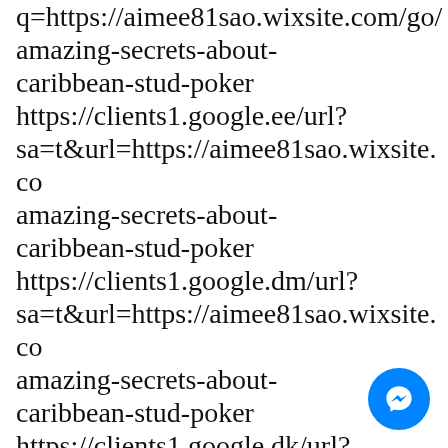q=https://aimee81sao.wixsite.com/go/amazing-secrets-about-caribbean-stud-poker https://clients1.google.ee/url?sa=t&url=https://aimee81sao.wixsite.co amazing-secrets-about-caribbean-stud-poker https://clients1.google.dm/url?sa=t&url=https://aimee81sao.wixsite.co amazing-secrets-about-caribbean-stud-poker https://clients1.google.dk/url?sa=t&url=https://aimee81sao.wixsite.co